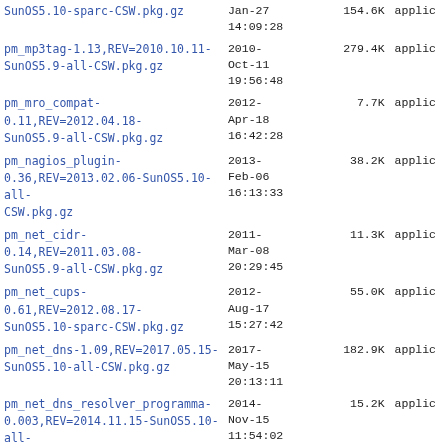| Filename | Date | Size | Type |
| --- | --- | --- | --- |
| SunOS5.10-sparc-CSW.pkg.gz | Jan-27 14:09:28 | 154.6K | applic |
| pm_mp3tag-1.13,REV=2010.10.11-SunOS5.9-all-CSW.pkg.gz | 2010-Oct-11 19:56:48 | 279.4K | applic |
| pm_mro_compat-0.11,REV=2012.04.18-SunOS5.9-all-CSW.pkg.gz | 2012-Apr-18 16:42:28 | 7.7K | applic |
| pm_nagios_plugin-0.36,REV=2013.02.06-SunOS5.10-all-CSW.pkg.gz | 2013-Feb-06 16:13:33 | 38.2K | applic |
| pm_net_cidr-0.14,REV=2011.03.08-SunOS5.9-all-CSW.pkg.gz | 2011-Mar-08 20:29:45 | 11.3K | applic |
| pm_net_cups-0.61,REV=2012.08.17-SunOS5.10-sparc-CSW.pkg.gz | 2012-Aug-17 15:27:42 | 55.0K | applic |
| pm_net_dns-1.09,REV=2017.05.15-SunOS5.10-all-CSW.pkg.gz | 2017-May-15 20:13:11 | 182.9K | applic |
| pm_net_dns_resolver_programma-0.003,REV=2014.11.15-SunOS5.10-all-CSW.pkg.gz | 2014-Nov-15 11:54:02 | 15.2K | applic |
| pm_net_graphite-0.16,REV=2015.06.04-SunOS5.10-all-CSW.pkg.gz | 2015-Jun-04 13:58:10 | 6.4K | applic |
| pm_net_http-6.03,REV=2012.08.20-SunOS5.9-all-CSW.pkg.gz | 2012-Aug-20 14:00:35 | 15.8K | applic |
| pm_net_idn_encode-1.100,REV=2011.03.08-SunOS5.9-all-CSW.pkg.gz | 2011-Mar-08 20:30:33 | 17.3K | applic |
| pm_net_idn_panampan- | 2012- |  |  |